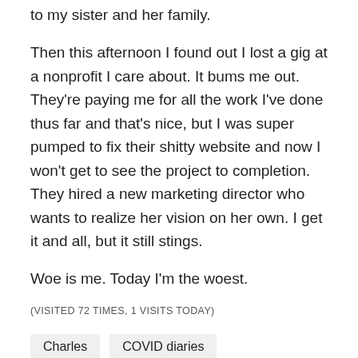to my sister and her family.
Then this afternoon I found out I lost a gig at a nonprofit I care about. It bums me out. They're paying me for all the work I've done thus far and that's nice, but I was super pumped to fix their shitty website and now I won't get to see the project to completion. They hired a new marketing director who wants to realize her vision on her own. I get it and all, but it still stings.
Woe is me. Today I'm the woest.
(VISITED 72 TIMES, 1 VISITS TODAY)
Charles   COVID diaries